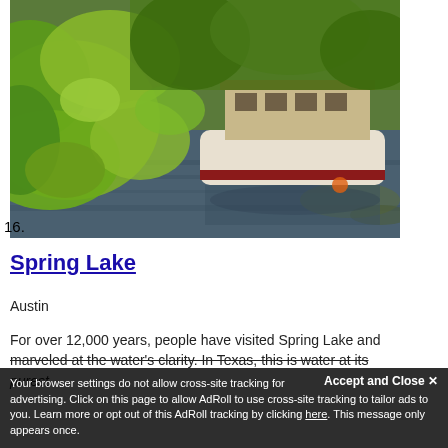[Figure (photo): A boat on a calm river or lake surrounded by lush green trees and foliage. The boat has a white hull with a red stripe and a wooden cabin structure.]
16.
Spring Lake
Austin
For over 12,000 years, people have visited Spring Lake and marveled at the water's clarity. In Texas, this is water at its purest.
Your browser settings do not allow cross-site tracking for advertising. Click on this page to allow AdRoll to use cross-site tracking to tailor ads to you. Learn more or opt out of this AdRoll tracking by clicking here. This message only appears once.